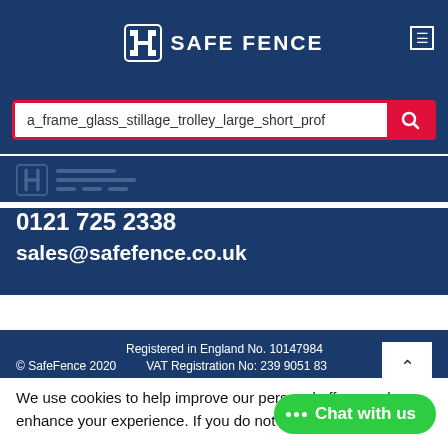SAFE FENCE
a_frame_glass_stillage_trolley_large_short_prof
0121 725 2338
sales@safefence.co.uk
Registered in England No. 10147984
© SafeFence 2020    VAT Registration No: 239 9051 83
Magento 2 Designed & Developed by gloversure
We use cookies to help improve our personal offers, and enhance your experience. If you do not